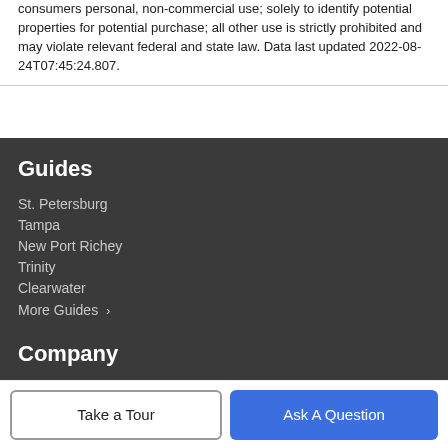consumers personal, non-commercial use; solely to identify potential properties for potential purchase; all other use is strictly prohibited and may violate relevant federal and state law. Data last updated 2022-08-24T07:45:24.807.
Guides
St. Petersburg
Tampa
New Port Richey
Trinity
Clearwater
More Guides >
Company
Meet The Team